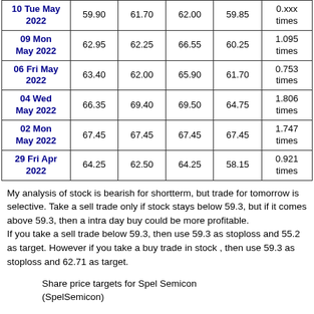| Date | Price | Open | High | Low | Volume |
| --- | --- | --- | --- | --- | --- |
| 10 Tue May 2022 | 59.90 | 61.70 | 62.00 | 59.85 | 0.xxx times |
| 09 Mon May 2022 | 62.95 | 62.25 | 66.55 | 60.25 | 1.095 times |
| 06 Fri May 2022 | 63.40 | 62.00 | 65.90 | 61.70 | 0.753 times |
| 04 Wed May 2022 | 66.35 | 69.40 | 69.50 | 64.75 | 1.806 times |
| 02 Mon May 2022 | 67.45 | 67.45 | 67.45 | 67.45 | 1.747 times |
| 29 Fri Apr 2022 | 64.25 | 62.50 | 64.25 | 58.15 | 0.921 times |
My analysis of stock is bearish for shortterm, but trade for tomorrow is selective. Take a sell trade only if stock stays below 59.3, but if it comes above 59.3, then a intra day buy could be more profitable.
If you take a sell trade below 59.3, then use 59.3 as stoploss and 55.2 as target. However if you take a buy trade in stock , then use 59.3 as stoploss and 62.71 as target.
Share price targets for Spel Semicon (SpelSemicon)